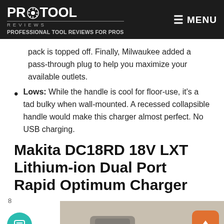PRO TOOL REVIEWS — PROFESSIONAL TOOL REVIEWS FOR PROS | MENU
pack is topped off. Finally, Milwaukee added a pass-through plug to help you maximize your available outlets.
Lows: While the handle is cool for floor-use, it's a tad bulky when wall-mounted. A recessed collapsible handle would make this charger almost perfect. No USB charging.
Makita DC18RD 18V LXT Lithium-ion Dual Port Rapid Optimum Charger
[Figure (photo): Bottom of page showing a partial product photo of the Makita charger on a light wooden surface]